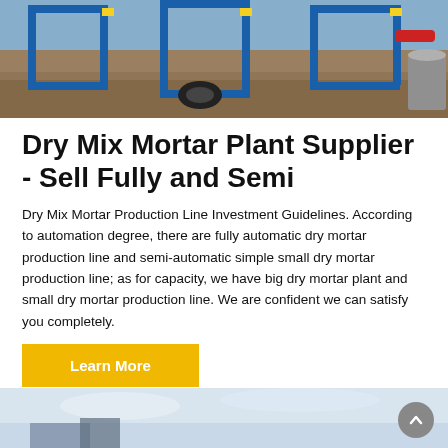[Figure (photo): Blue construction/mortar mixing equipment (dry mix mortar plant) on a construction site with gravel and dirt ground]
Dry Mix Mortar Plant Supplier - Sell Fully and Semi
Dry Mix Mortar Production Line Investment Guidelines. According to automation degree, there are fully automatic dry mortar production line and semi-automatic simple small dry mortar production line; as for capacity, we have big dry mortar plant and small dry mortar production line. We are confident we can satisfy you completely.
Learn More
[Figure (photo): Partial view of another piece of industrial equipment against a cloudy sky background]